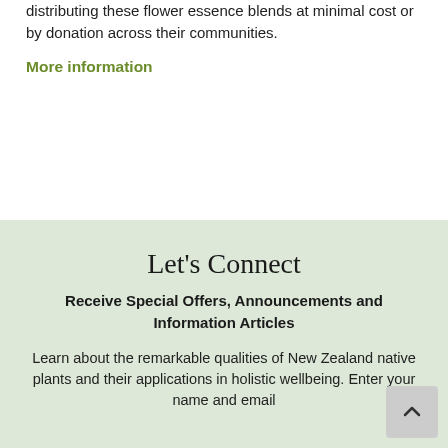distributing these flower essence blends at minimal cost or by donation across their communities.
More information
Let's Connect
Receive Special Offers, Announcements and Information Articles
Learn about the remarkable qualities of New Zealand native plants and their applications in holistic wellbeing. Enter your name and email